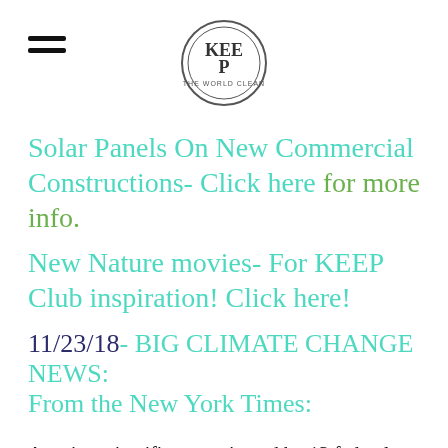[Figure (logo): KEEP circular logo with text around the border]
Solar Panels On New Commercial Constructions- Click here for more info.
New Nature movies- For KEEP Club inspiration! Click here!
11/23/18- BIG CLIMATE CHANGE NEWS: From the New York Times:
A major scientific report issued by 13 federal agencies... of the consequences of